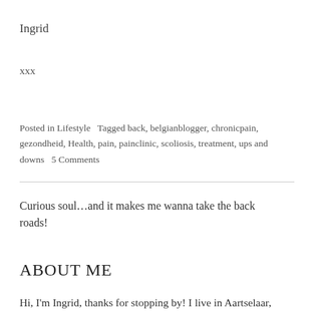Ingrid
xxx
Posted in Lifestyle   Tagged back, belgianblogger, chronicpain, gezondheid, Health, pain, painclinic, scoliosis, treatment, ups and downs   5 Comments
Curious soul…and it makes me wanna take the back roads!
ABOUT ME
Hi, I'm Ingrid, thanks for stopping by! I live in Aartselaar, a small town south of Antwerp, Belgium, together with my husband, son and cat Wiskie. Being a chronic back pain and MS patient and still